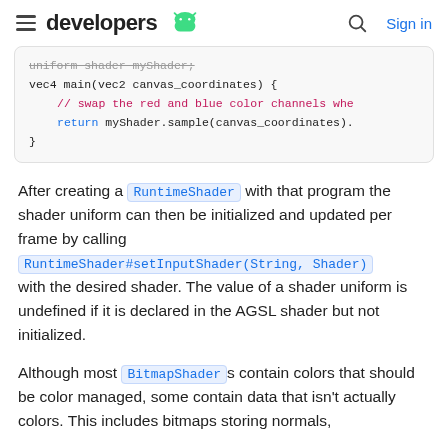developers [android logo] ... Sign in
[Figure (screenshot): Code block showing AGSL shader code with uniform shader myShader, vec4 main(vec2 canvas_coordinates), comment about swapping red and blue color channels, return statement, closing brace]
After creating a RuntimeShader with that program the shader uniform can then be initialized and updated per frame by calling RuntimeShader#setInputShader(String, Shader) with the desired shader. The value of a shader uniform is undefined if it is declared in the AGSL shader but not initialized.
Although most BitmapShaders contain colors that should be color managed, some contain data that isn't actually colors. This includes bitmaps storing normals,